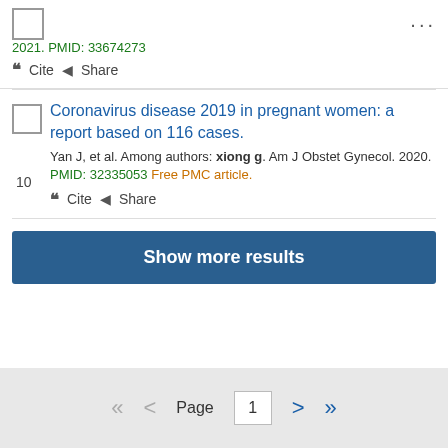2021. PMID: 33674273
Cite  Share
Coronavirus disease 2019 in pregnant women: a report based on 116 cases. Yan J, et al. Among authors: xiong g. Am J Obstet Gynecol. 2020. PMID: 32335053 Free PMC article.
Cite  Share
Show more results
Page 1